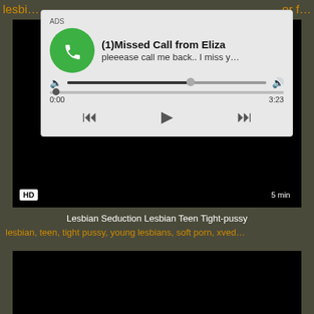lesbi... or f...
[Figure (screenshot): Ad popup overlay showing a missed call notification from Eliza with audio player controls showing 0:00 / 3:23]
[Figure (screenshot): Dark video player with HD badge and 5 min duration label]
Lesbian Seduction Lesbian Teen Tight-pussy
lesbian, teen, tight pussy, young lesbians, soft porn, xved...
[Figure (screenshot): Second dark video player thumbnail]